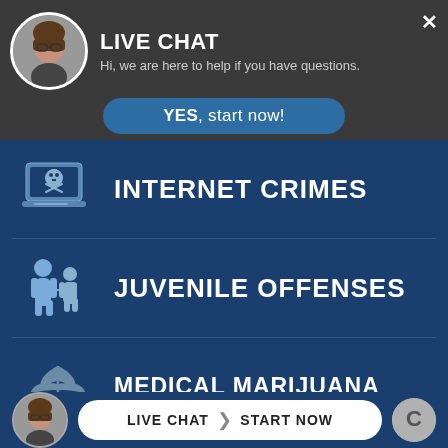[Figure (screenshot): Live chat popup with avatar photo of a woman wearing glasses, dark header bar with white LIVE CHAT title and subtitle text, and a blue YES start now button]
LIVE CHAT
Hi, we are here to help if you have questions.
YES, start now!
[Figure (illustration): Blue laptop icon with skull and crossbones on screen]
INTERNET CRIMES
[Figure (illustration): Blue icon of adult figure holding hand of smaller figure representing juvenile]
JUVENILE OFFENSES
[Figure (illustration): Blue-gray marijuana leaf icon]
MEDICAL MARIJUANA
LIVE CHAT | START NOW